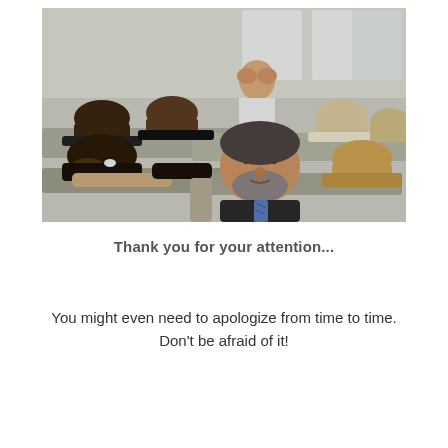[Figure (photo): A room full of people slumped over desks sleeping, with one man in the center background holding his face in his hands, and another bearded man in the foreground leaning back with eyes closed, wearing a suit and blue tie.]
Thank you for your attention...
You might even need to apologize from time to time. Don’t be afraid of it!